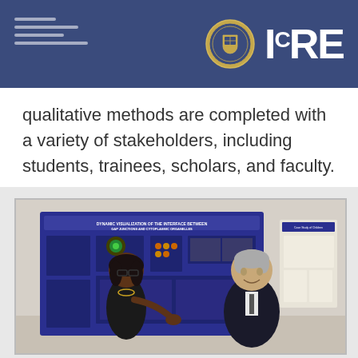ICRE
qualitative methods are completed with a variety of stakeholders, including students, trainees, scholars, and faculty.
[Figure (photo): Two people standing in front of academic research posters on a wall. A woman with glasses on the left is presenting/explaining, gesturing with her hand toward a blue poster. A man in a dark suit on the right is listening. The posters appear to be scientific/medical research posters.]